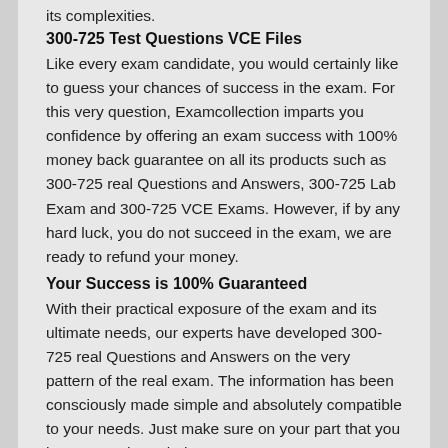its complexities.
300-725 Test Questions VCE Files
Like every exam candidate, you would certainly like to guess your chances of success in the exam. For this very question, Examcollection imparts you confidence by offering an exam success with 100% money back guarantee on all its products such as 300-725 real Questions and Answers, 300-725 Lab Exam and 300-725 VCE Exams. However, if by any hard luck, you do not succeed in the exam, we are ready to refund your money.
Your Success is 100% Guaranteed
With their practical exposure of the exam and its ultimate needs, our experts have developed 300-725 real Questions and Answers on the very pattern of the real exam. The information has been consciously made simple and absolutely compatible to your needs. Just make sure on your part that you have gone through the content 300-725 Examcollection Q&A and your success is guaranteed.
All CCNP Security Related